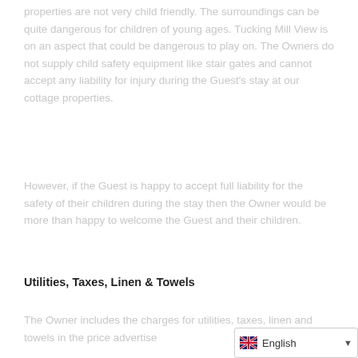properties are not very child friendly. The surroundings can be quite dangerous for children of young ages. Tucking Mill View is on an aspect that could be dangerous to play on. The Owners do not supply child safety equipment like stair gates and cannot accept any liability for injury during the Guest's stay at our cottage properties.
However, if the Guest is happy to accept full liability for the safety of their children during the stay then the Owner would be more than happy to welcome the Guest and their children.
Utilities, Taxes, Linen & Towels
The Owner includes the charges for utilities, taxes, linen and towels in the price advertise...